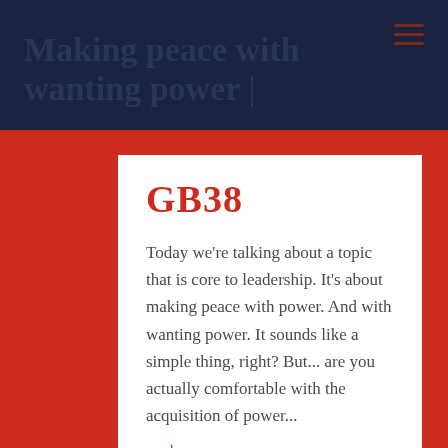Making peace with wanting power
GB38
Today we're talking about a topic that is core to leadership. It's about making peace with power. And with wanting power. It sounds like a simple thing, right? But... are you actually comfortable with the acquisition of power...
read more